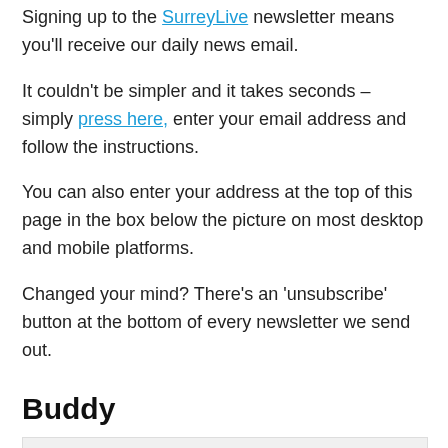Signing up to the SurreyLive newsletter means you'll receive our daily news email.
It couldn't be simpler and it takes seconds – simply press here, enter your email address and follow the instructions.
You can also enter your address at the top of this page in the box below the picture on most desktop and mobile platforms.
Changed your mind? There's an 'unsubscribe' button at the bottom of every newsletter we send out.
Buddy
[Figure (photo): Photo placeholder for Buddy from Epsom Canine Rescue]
Buddy from Epsom Canine Rescue